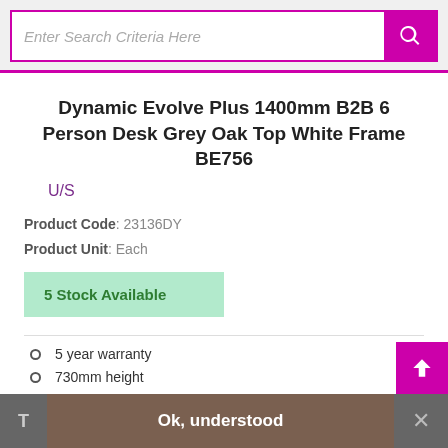Enter Search Criteria Here
Dynamic Evolve Plus 1400mm B2B 6 Person Desk Grey Oak Top White Frame BE756
U/S
Product Code: 23136DY
Product Unit: Each
5 Stock Available
5 year warranty
730mm height
T  Ok, understood  ×